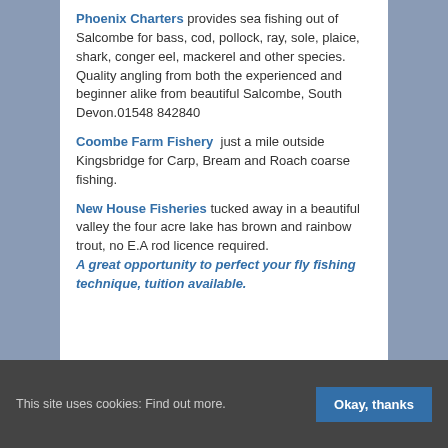Phoenix Charters provides sea fishing out of Salcombe for bass, cod, pollock, ray, sole, plaice, shark, conger eel, mackerel and other species. Quality angling from both the experienced and beginner alike from beautiful Salcombe, South Devon.01548 842840
Coombe Farm Fishery just a mile outside Kingsbridge for Carp, Bream and Roach coarse fishing.
New House Fisheries tucked away in a beautiful valley the four acre lake has brown and rainbow trout, no E.A rod licence required. A great opportunity to perfect your fly fishing technique, tuition available.
This site uses cookies: Find out more. Okay, thanks